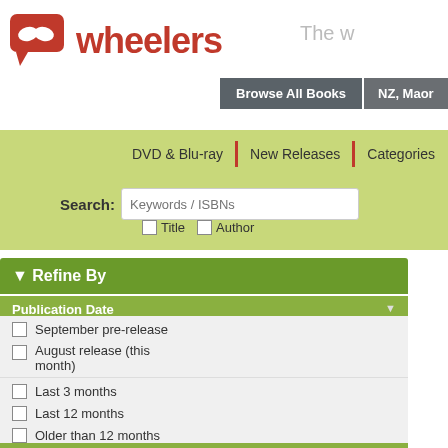[Figure (logo): Wheelers logo with red stylized flower/book icon and red bold 'wheelers' text]
The w
Browse All Books | NZ, Maor
DVD & Blu-ray | New Releases | Categories
Search: Keywords / ISBNs
Title  Author
Where?  DVD & Blu-ray » Facets » Cast and Cr...
Cast and Crew: Bill Ro
Refine By
Publication Date
September pre-release
August release (this month)
Last 3 months
Last 12 months
Older than 12 months
Format
Stock Availability:
On-hand, Local, International
Total 1.04K   jump to: 2
[Figure (screenshot): M rating badge, DVD cover thumbnail, DVD logo and FS italic text for a product listing]
Leonardo: Seaso